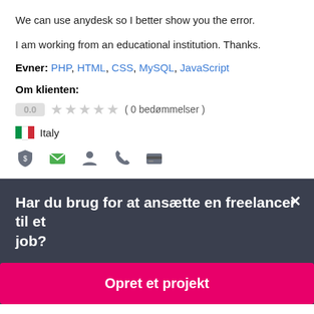We can use anydesk so I better show you the error.
I am working from an educational institution. Thanks.
Evner: PHP, HTML, CSS, MySQL, JavaScript
Om klienten:
0.0 ★★★★★ ( 0 bedømmelser )
Italy
[Figure (infographic): Row of 5 icons: shield with dollar sign (green), envelope (green), person silhouette (grey), phone (grey), credit card (grey)]
Har du brug for at ansætte en freelancer til et job?
Opret et projekt